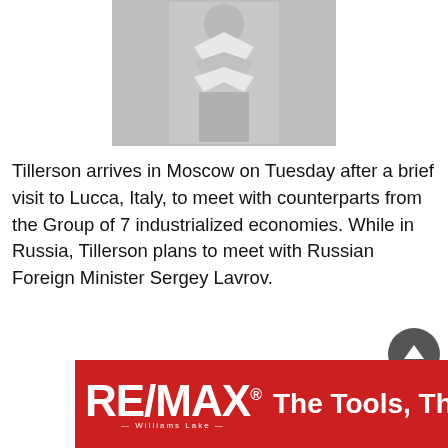[Figure (photo): A person in a white jacket with chevron/zigzag pattern arriving, photo with light gray tones]
Tillerson arrives in Moscow on Tuesday after a brief visit to Lucca, Italy, to meet with counterparts from the Group of 7 industrialized economies. While in Russia, Tillerson plans to meet with Russian Foreign Minister Sergey Lavrov.
[Figure (logo): RE/MAX Williams Lake banner advertisement with text 'The Tools, The']